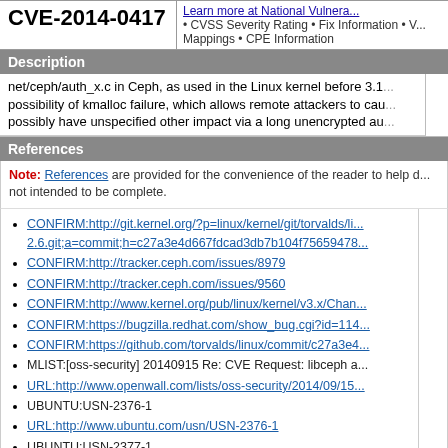CVE-2014-0417
Learn more at National Vulnera... • CVSS Severity Rating • Fix Information • V... Mappings • CPE Information
Description
net/ceph/auth_x.c in Ceph, as used in the Linux kernel before 3.1... possibility of kmalloc failure, which allows remote attackers to cau... possibly have unspecified other impact via a long unencrypted au...
References
Note: References are provided for the convenience of the reader to help d... not intended to be complete.
CONFIRM:http://git.kernel.org/?p=linux/kernel/git/torvalds/li... 2.6.git;a=commit;h=c27a3e4d667fdcad3db7b104f75659478...
CONFIRM:http://tracker.ceph.com/issues/8979
CONFIRM:http://tracker.ceph.com/issues/9560
CONFIRM:http://www.kernel.org/pub/linux/kernel/v3.x/Chan...
CONFIRM:https://bugzilla.redhat.com/show_bug.cgi?id=114...
CONFIRM:https://github.com/torvalds/linux/commit/c27a3e4...
MLIST:[oss-security] 20140915 Re: CVE Request: libceph a...
URL:http://www.openwall.com/lists/oss-security/2014/09/15...
UBUNTU:USN-2376-1
URL:http://www.ubuntu.com/usn/USN-2376-1
UBUNTU:USN-2377-1